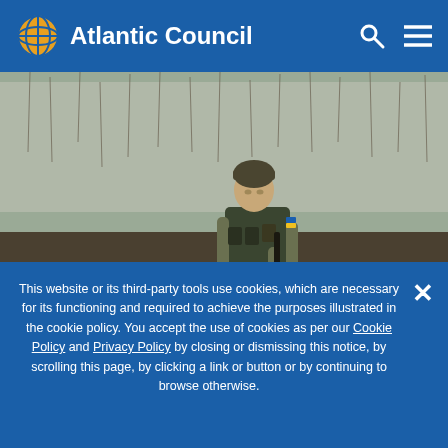Atlantic Council
[Figure (photo): A Ukrainian soldier in camouflage uniform and tactical vest, holding an assault rifle, standing in a bare winter landscape with fallen logs and bare bushes in the background.]
This website or its third-party tools use cookies, which are necessary for its functioning and required to achieve the purposes illustrated in the cookie policy. You accept the use of cookies as per our Cookie Policy and Privacy Policy by closing or dismissing this notice, by scrolling this page, by clicking a link or button or by continuing to browse otherwise.